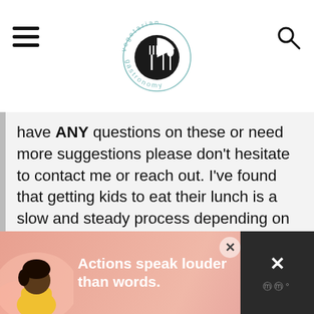vegetarian gastronomy [logo]
have ANY questions on these or need more suggestions please don't hesitate to contact me or reach out. I've found that getting kids to eat their lunch is a slow and steady process depending on the type of kid so don't get frustrated 🙂 but happy to help with tips!
REPLY
[Figure (infographic): Advertisement banner: person figure on left with pink/orange illustrated background, white bold text 'Actions speak louder than words.', close X button, dark right panel with X and dots icons]